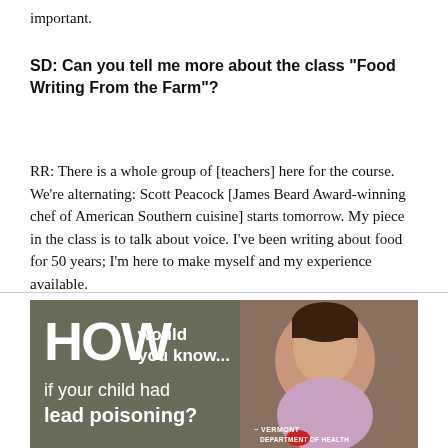important.
SD: Can you tell me more about the class “Food Writing From the Farm”?
RR: There is a whole group of [teachers] here for the course. We’re alternating: Scott Peacock [James Beard Award-winning chef of American Southern cuisine] starts tomorrow. My piece in the class is to talk about voice. I’ve been writing about food for 50 years; I’m here to make myself and my experience available.
[Figure (photo): Vermont Department of Health advertisement showing a baby/toddler with text: HOW would you know... if your child had lead poisoning? Vermont Department of Health logo.]